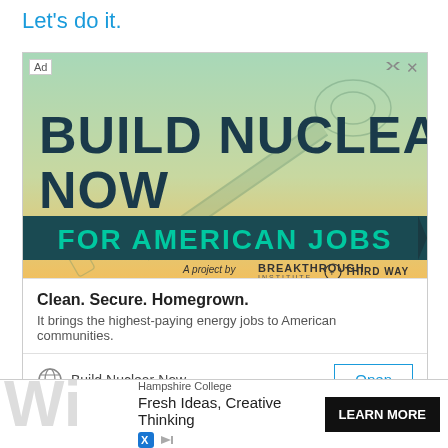Let's do it.
[Figure (infographic): Advertisement banner for 'Build Nuclear Now For American Jobs' campaign, a project by Breakthrough Institute and Third Way. Features teal-to-yellow gradient background with wrench illustration. Text reads 'BUILD NUCLEAR NOW' in large dark teal bold font and 'FOR AMERICAN JOBS' in teal on dark teal banner ribbon.]
Clean. Secure. Homegrown.
It brings the highest-paying energy jobs to American communities.
Build Nuclear Now
[Figure (infographic): Partial advertisement for Hampshire College with text 'Fresh Ideas, Creative Thinking' and a 'LEARN MORE' button on black background.]